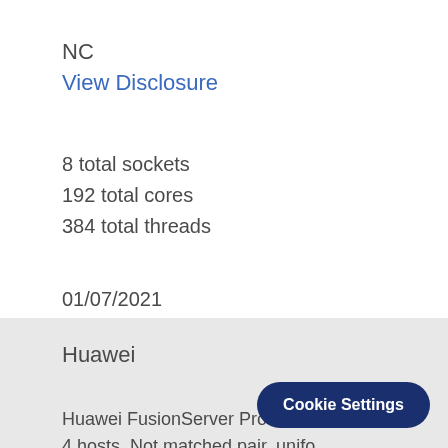NC
View Disclosure
8 total sockets
192 total cores
384 total threads
01/07/2021
Huawei
Huawei FusionServer Pro 2488H V6
4 hosts, Not matched pair, unifo
Cookie Settings